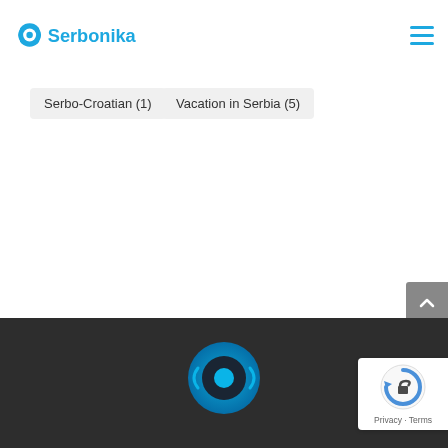Serbonika
Serbo-Croatian (1)
Vacation in Serbia (5)
[Figure (logo): Serbonika footer logo in blue tones on dark background]
[Figure (other): Google reCAPTCHA badge with Privacy and Terms links]